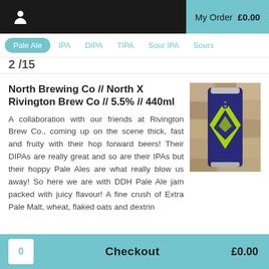My Order  £0.00
Pale Ale  IPA  DIPA  TIPA  Sour IPA  Sours
2 /16
North Brewing Co // North X Rivington Brew Co // 5.5% // 440ml
[Figure (photo): A can of North X Rivington Brew Co pale ale, dark blue can with lime green geometric design]
A collaboration with our friends at Rivington Brew Co., coming up on the scene thick, fast and fruity with their hop forward beers! Their DIPAs are really great and so are their IPAs but their hoppy Pale Ales are what really blow us away! So here we are with DDH Pale Ale jam packed with juicy flavour! A fine crush of Extra Pale Malt, wheat, flaked oats and dextrin
0  Checkout  £0.00